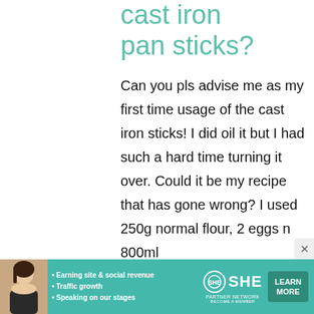cast iron pan sticks?
Can you pls advise me as my first time usage of the cast iron sticks! I did oil it but I had such a hard time turning it over. Could it be my recipe that has gone wrong? I used 250g normal flour, 2 eggs n 800ml
[Figure (infographic): SHE Partner Network advertisement banner at the bottom of the page with a woman's photo, bullet points about earning site & social revenue, traffic growth, speaking on our stages, the SHE Partner Network logo, and a Learn More button.]